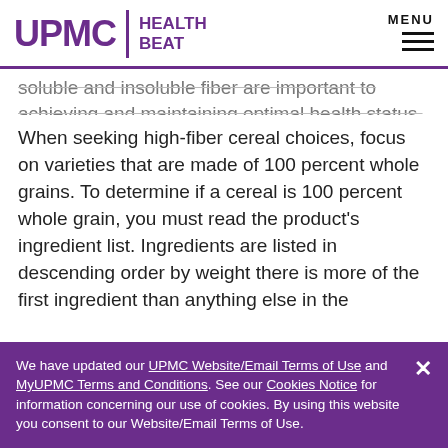UPMC HEALTH BEAT | MENU
soluble and insoluble fiber are important to achieving and maintaining optimal health status.
When seeking high-fiber cereal choices, focus on varieties that are made of 100 percent whole grains. To determine if a cereal is 100 percent whole grain, you must read the product's ingredient list. Ingredients are listed in descending order by weight there is more of the first ingredient than anything else in the product. If the first ingredient contains the
We have updated our UPMC Website/Email Terms of Use and MyUPMC Terms and Conditions. See our Cookies Notice for information concerning our use of cookies. By using this website you consent to our Website/Email Terms of Use.